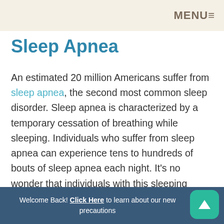MENU
Sleep Apnea
An estimated 20 million Americans suffer from sleep apnea, the second most common sleep disorder. Sleep apnea is characterized by a temporary cessation of breathing while sleeping. Individuals who suffer from sleep apnea can experience tens to hundreds of bouts of sleep apnea each night. It’s no wonder that individuals with this sleeping disorder often wake up each morning
Welcome Back! Click Here to learn about our new precautions